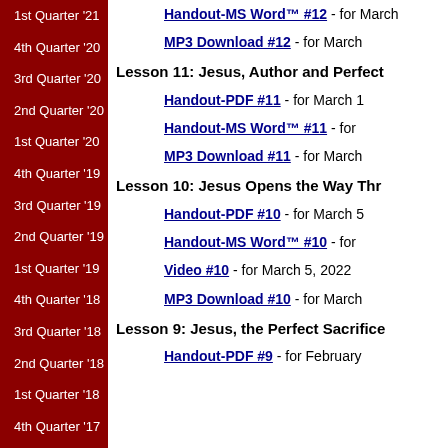1st Quarter '21
4th Quarter '20
3rd Quarter '20
2nd Quarter '20
1st Quarter '20
4th Quarter '19
3rd Quarter '19
2nd Quarter '19
1st Quarter '19
4th Quarter '18
3rd Quarter '18
2nd Quarter '18
1st Quarter '18
4th Quarter '17
3rd Quarter '17
Handout-MS Word™ #12 - for March
MP3 Download #12 - for March
Lesson 11: Jesus, Author and Perfect
Handout-PDF #11 - for March 1
Handout-MS Word™ #11 - for
MP3 Download #11 - for March
Lesson 10: Jesus Opens the Way Thr
Handout-PDF #10 - for March 5
Handout-MS Word™ #10 - for
Video #10 - for March 5, 2022
MP3 Download #10 - for March
Lesson 9: Jesus, the Perfect Sacrifice
Handout-PDF #9 - for February